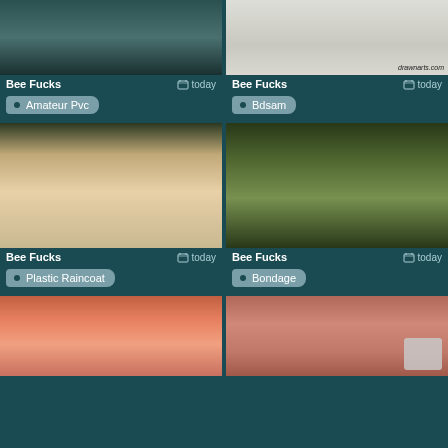[Figure (screenshot): Video thumbnail - top left, close-up macro image with dark green tones]
Bee Fucks
today
Amateur Pvc
[Figure (screenshot): Video thumbnail - top right, drawn/illustration style image with text drawnarts.com]
Bee Fucks
today
Bdsam
[Figure (screenshot): Video thumbnail - middle left, women in pink coats in dark room]
Bee Fucks
today
Plastic Raincoat
[Figure (screenshot): Video thumbnail - middle right, people in outdoor forest setting]
Bee Fucks
today
Bondage
[Figure (screenshot): Video thumbnail - bottom left, close-up with orange/pink tones]
[Figure (screenshot): Video thumbnail - bottom right, close-up face with red hair]